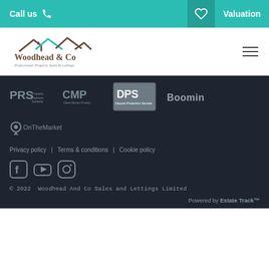Call us  |  Valuation
[Figure (logo): Woodhead & Co - Professional Property Sales & Lettings logo with house outline in brown and teal]
[Figure (logo): PRS Property Redress Scheme logo]
[Figure (logo): CMP Client Money Protect logo]
[Figure (logo): DPS Deposit Protection Service logo]
Boomin
[Figure (logo): OnTheMarket logo with location pin icon]
Privacy policy  |  Terms & conditions  |  Cookie policy
© 2022  Woodhead And Co Sales and Lettings Limited
Powered by Estate Track™